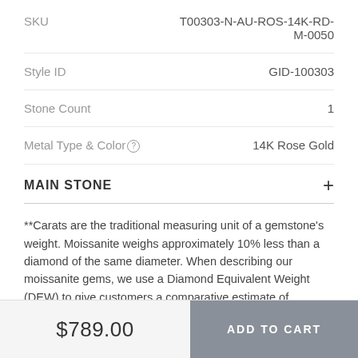| Attribute | Value |
| --- | --- |
| SKU | T00303-N-AU-ROS-14K-RD-M-0050 |
| Style ID | GID-100303 |
| Stone Count | 1 |
| Metal Type & Color | 14K Rose Gold |
MAIN STONE
**Carats are the traditional measuring unit of a gemstone's weight. Moissanite weighs approximately 10% less than a diamond of the same diameter. When describing our moissanite gems, we use a Diamond Equivalent Weight (DEW) to give customers a comparative estimate of gemstone size. Forever One moissanite is laboratory-created.
$789.00
ADD TO CART